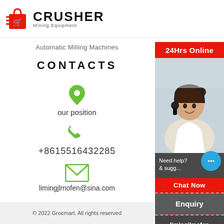[Figure (logo): Crusher Mining Equipment logo with red shopping bag icon and bold CRUSHER text]
Automatic Milling Machines
CONTACTS
[Figure (other): Green map pin / location icon]
our position
[Figure (other): Green phone icon]
+8615516432285
[Figure (other): Green envelope / email icon]
limingjlmofen@sina.com
[Figure (photo): 24Hrs Online sidebar with photo of woman with headset, Chat Now button, Enquiry section, and email limingjlmofen@sina.com]
© 2022 Grocmart. All rights reserved